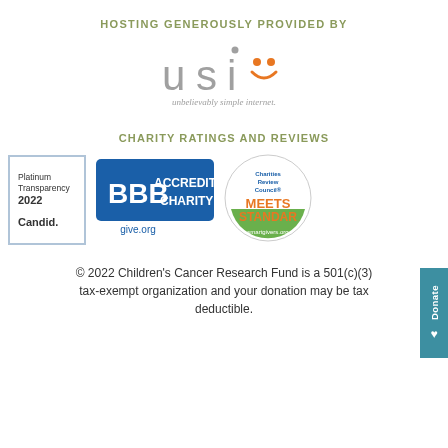HOSTING GENEROUSLY PROVIDED BY
[Figure (logo): USI logo with text 'unbelievably simple internet.']
CHARITY RATINGS AND REVIEWS
[Figure (logo): Candid Platinum Transparency 2022 badge]
[Figure (logo): BBB Accredited Charity give.org badge]
[Figure (logo): Charities Review Council Meets Standard smartgivers.org badge]
© 2022 Children's Cancer Research Fund is a 501(c)(3) tax-exempt organization and your donation may be tax deductible.